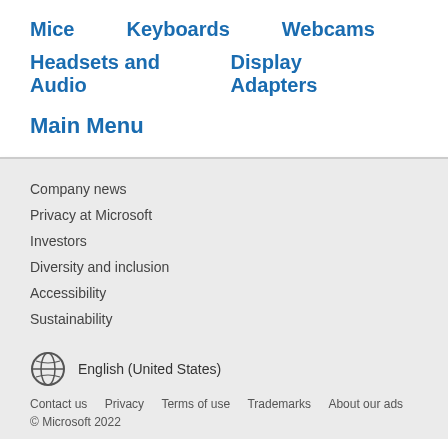Mice
Keyboards
Webcams
Headsets and Audio
Display Adapters
Main Menu
Company news
Privacy at Microsoft
Investors
Diversity and inclusion
Accessibility
Sustainability
English (United States)
Contact us   Privacy   Terms of use   Trademarks   About our ads   © Microsoft 2022